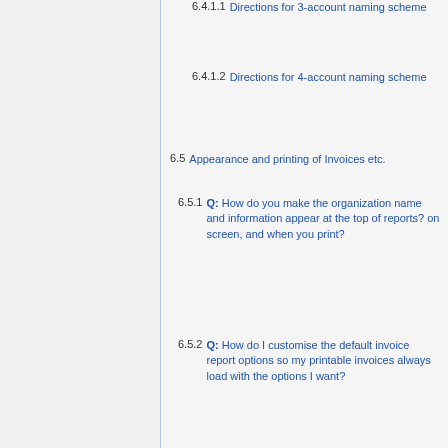6.4.1.1  Directions for 3-account naming scheme
6.4.1.2  Directions for 4-account naming scheme
6.5  Appearance and printing of Invoices etc.
6.5.1  Q: How do you make the organization name and information appear at the top of reports? on screen, and when you print?
6.5.2  Q: How do I customise the default invoice report options so my printable invoices always load with the options I want?